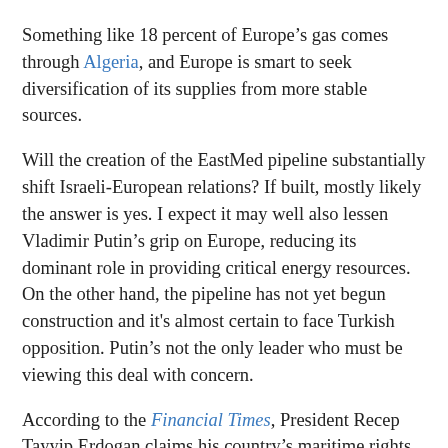Something like 18 percent of Europe's gas comes through Algeria, and Europe is smart to seek diversification of its supplies from more stable sources.
Will the creation of the EastMed pipeline substantially shift Israeli-European relations? If built, mostly likely the answer is yes. I expect it may well also lessen Vladimir Putin's grip on Europe, reducing its dominant role in providing critical energy resources. On the other hand, the pipeline has not yet begun construction and it's almost certain to face Turkish opposition. Putin's not the only leader who must be viewing this deal with concern.
According to the Financial Times, President Recep Tayyip Erdogan claims his country's maritime rights cross the planned EastMed pipeline route. Like Tony Soprano he wants to “get his beak in,” and seems poised to demand a cut of the revenue.